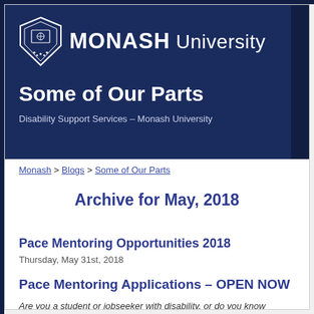[Figure (logo): Monash University shield crest logo with MONASH University wordmark in white on dark navy background]
Some of Our Parts
Disability Support Services – Monash University
Monash > Blogs > Some of Our Parts
Archive for May, 2018
Pace Mentoring Opportunities 2018
Thursday, May 31st, 2018
Pace Mentoring Applications – OPEN NOW
Are you a student or jobseeker with disability, or do you know someone who